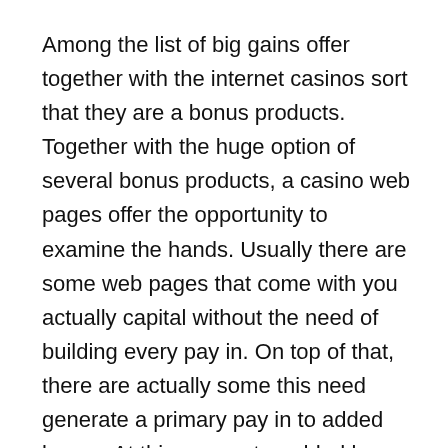Among the list of big gains offer together with the internet casinos sort that they are a bonus products. Together with the huge option of several bonus products, a casino web pages offer the opportunity to examine the hands. Usually there are some web pages that come with you actually capital without the need of building every pay in. On top of that, there are actually some this need generate a primary pay in to added bonus. At this moment a added bonus is often by using amount of your increased pay in.
Getting a pay in during betting house internet
Getting a pay in inside an internet betting house web-site will not be a big deal. There are plenty of strategies to generate stores in the betting house akun. These involve